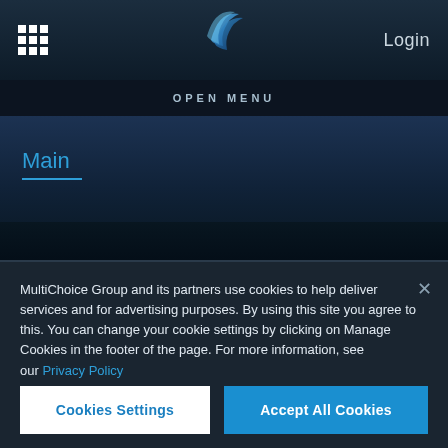Login
OPEN MENU
Main
MultiChoice Group and its partners use cookies to help deliver services and for advertising purposes. By using this site you agree to this. You can change your cookie settings by clicking on Manage Cookies in the footer of the page. For more information, see our Privacy Policy